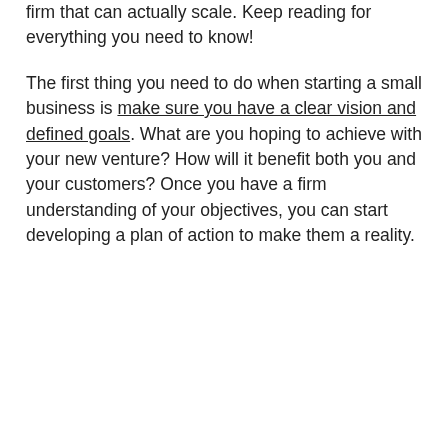firm that can actually scale. Keep reading for everything you need to know!
The first thing you need to do when starting a small business is make sure you have a clear vision and defined goals. What are you hoping to achieve with your new venture? How will it benefit both you and your customers? Once you have a firm understanding of your objectives, you can start developing a plan of action to make them a reality.